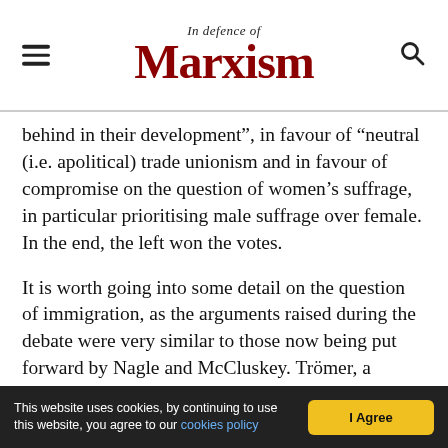In Defence of Marxism
behind in their development”, in favour of “neutral (i.e. apolitical) trade unionism and in favour of compromise on the question of women’s suffrage, in particular prioritising male suffrage over female. In the end, the left won the votes.
It is worth going into some detail on the question of immigration, as the arguments raised during the debate were very similar to those now being put forward by Nagle and McCluskey. Trömer, a delegate from the Australian Labour Party put it like this:
This website uses cookies, by continuing to use this website, you agree to our cookies policy  |  I Agree